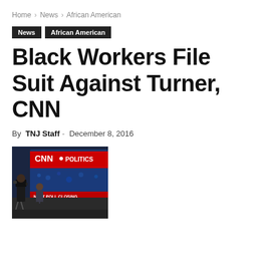Home › News › African American
News  African American
Black Workers File Suit Against Turner, CNN
By TNJ Staff - December 8, 2016
[Figure (photo): CNN Politics TV studio setup with camera operator and crew member in the foreground, CNN Politics sign visible in background.]